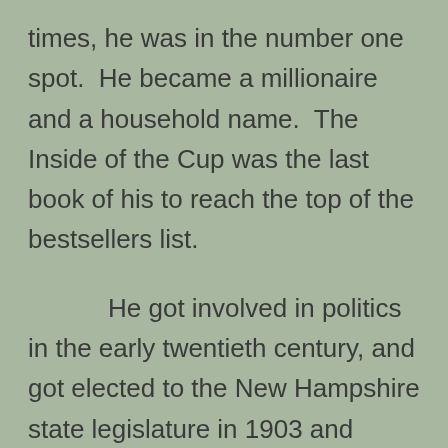times, he was in the number one spot. He became a millionaire and a household name. The Inside of the Cup was the last book of his to reach the top of the bestsellers list.
He got involved in politics in the early twentieth century, and got elected to the New Hampshire state legislature in 1903 and 1905. He failed to win the Republican nomination for governor in 1906. In 1912, he ran as the candidate for the Progressive Party (colloquially known as the Bull Moose Party, after its founder Theodore Roosevelt), but lost to